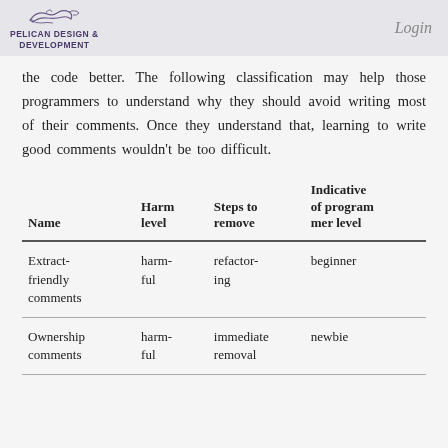PELICAN DESIGN & DEVELOPMENT | Login
the code better. The following classification may help those programmers to understand why they should avoid writing most of their comments. Once they understand that, learning to write good comments wouldn't be too difficult.
| Name | Harm level | Steps to remove | Indicative of programmer level |
| --- | --- | --- | --- |
| Extract-friendly comments | harmful | refactoring | beginner |
| Ownership comments | harmful | immediate removal | newbie |